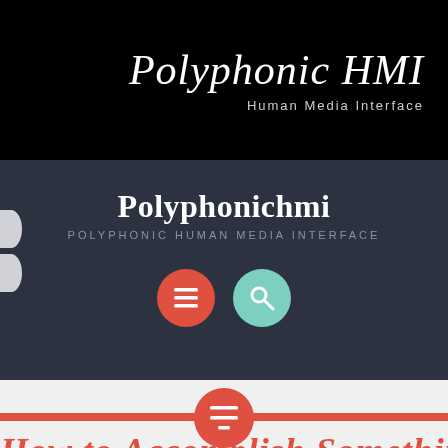Polyphonic HMI
Human Media Interface
Polyphonichmi
POLYPHONIC HUMAN MEDIA INTERFACE
[Figure (illustration): Two circular icon buttons: a red circle with a hamburger/menu icon and a teal/mint circle with a magnifying glass/search icon]
[Figure (illustration): A red horizontal bar across the page with a red circle containing a menu/list icon centered on the bar]
How to Accomplish Something fa...